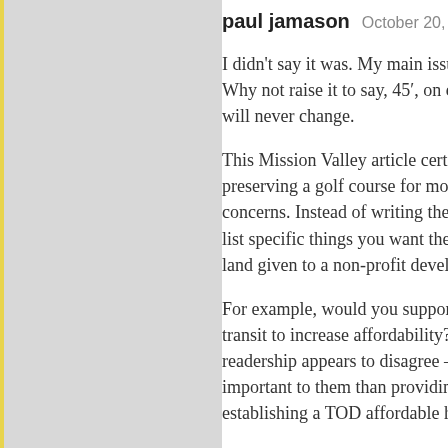paul jamason   October 20, 2014 at 11:18 am
I didn't say it was. My main issue is with the coa... Why not raise it to say, 45', on commercial corri... will never change.
This Mission Valley article certainly comes off a... preserving a golf course for mostly wealthy play... concerns. Instead of writing the easy “developer... list specific things you want them do in Mission ... land given to a non-profit developer or the city, b...
For example, would you support reducing parkin... transit to increase affordability? Many other citie... readership appears to disagree – because parking... important to them than providing affordable hou... establishing a TOD affordable housing fund like...
http://www.urbanlandc.org/denver-transit-oriente...